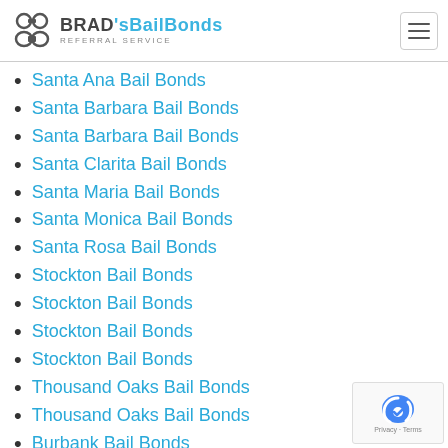BRAD's BailBonds REFERRAL SERVICE
Santa Ana Bail Bonds
Santa Barbara Bail Bonds
Santa Barbara Bail Bonds
Santa Clarita Bail Bonds
Santa Maria Bail Bonds
Santa Monica Bail Bonds
Santa Rosa Bail Bonds
Stockton Bail Bonds
Stockton Bail Bonds
Stockton Bail Bonds
Stockton Bail Bonds
Thousand Oaks Bail Bonds
Thousand Oaks Bail Bonds
Burbank Bail Bonds
Tracy Bail Bonds
Tracy Bail Bonds